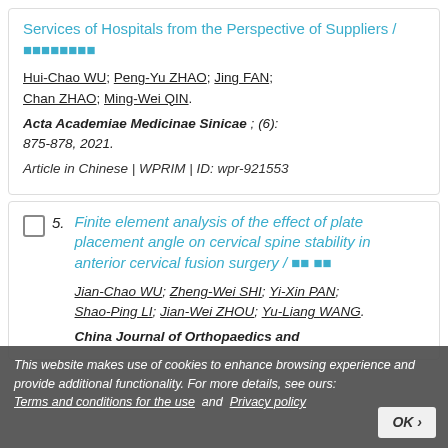Services of Hospitals from the Perspective of Suppliers / 汉字汉字汉字汉字
Hui-Chao WU; Peng-Yu ZHAO; Jing FAN; Chan ZHAO; Ming-Wei QIN.
Acta Academiae Medicinae Sinicae ; (6): 875-878, 2021.
Article in Chinese | WPRIM | ID: wpr-921553
Finite element analysis of the effect of plate placement angle on cervical spine stability in anterior cervical fusion surgery / 汉字汉字
Jian-Chao WU; Zheng-Wei SHI; Yi-Xin PAN; Shao-Ping LI; Jian-Wei ZHOU; Yu-Liang WANG.
China Journal of Orthopaedics and
This website makes use of cookies to enhance browsing experience and provide additional functionality. For more details, see ours: Terms and conditions for the use and Privacy policy